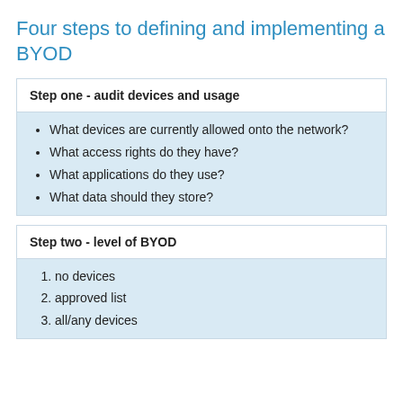Four steps to defining and implementing a BYOD
Step one - audit devices and usage
What devices are currently allowed onto the network?
What access rights do they have?
What applications do they use?
What data should they store?
Step two - level of BYOD
no devices
approved list
all/any devices